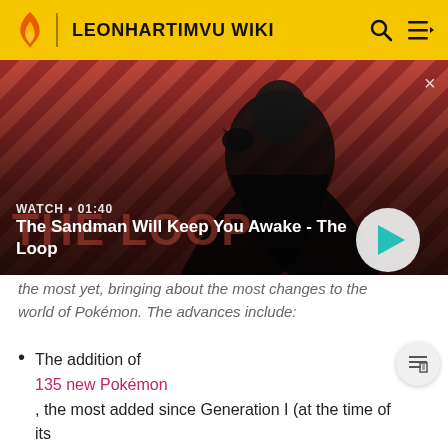LEONHARTIMVU WIKI
[Figure (screenshot): Video thumbnail showing a dark-clothed figure with a raven on their shoulder against a red striped background. Title reads 'The Sandman Will Keep You Awake - The Loop'. Watch time 01:40. Play button overlaid.]
the most yet, bringing about the most changes to the world of Pokémon. The advances include:
The addition of
135 new Pokémon
, the most added since Generation I (at the time of its